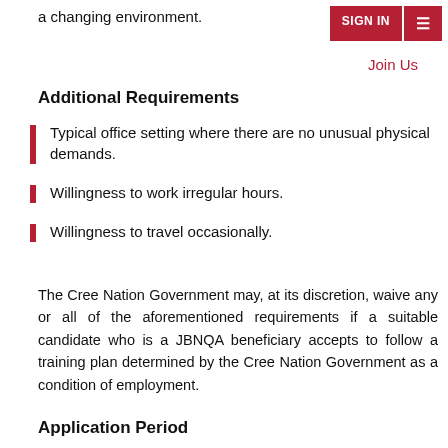a changing environment.
SIGN IN  ☰  Join Us
Additional Requirements
Typical office setting where there are no unusual physical demands.
Willingness to work irregular hours.
Willingness to travel occasionally.
The Cree Nation Government may, at its discretion, waive any or all of the aforementioned requirements if a suitable candidate who is a JBNQA beneficiary accepts to follow a training plan determined by the Cree Nation Government as a condition of employment.
Application Period